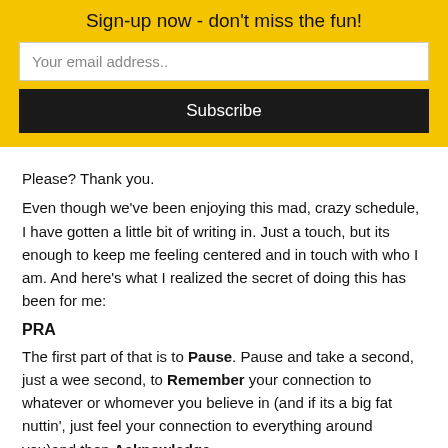Sign-up now - don't miss the fun!
Your email address..
Subscribe
Please?  Thank you.
Even though we've been enjoying this mad, crazy schedule, I have gotten a little bit of writing in.  Just a touch, but its enough to keep me feeling centered and in touch with who I am.  And here's what I realized the secret of doing this has been for me:
PRA
The first part of that is to Pause.  Pause and take a second, just a wee second, to Remember your connection to whatever or whomever you believe in (and if its a big fat nuttin', just feel your connection to everything around you)and then Acknowledge.